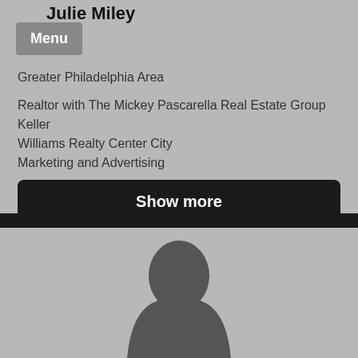Julie Miley
Menu
Greater Philadelphia Area
Realtor with The Mickey Pascarella Real Estate Group Keller Williams Realty Center City
Marketing and Advertising
Show more
[Figure (photo): Profile photo placeholder showing a dark silhouette of a person on a grey background]